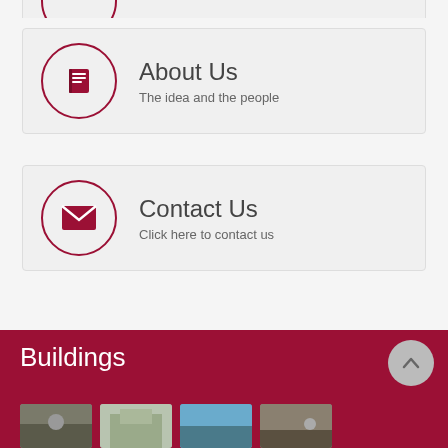[Figure (infographic): About Us card with book icon in dark red circle, title 'About Us', subtitle 'The idea and the people']
[Figure (infographic): Contact Us card with envelope icon in dark red circle, title 'Contact Us', subtitle 'Click here to contact us']
Buildings
[Figure (photo): Four small thumbnail photos of buildings at the bottom of the page]